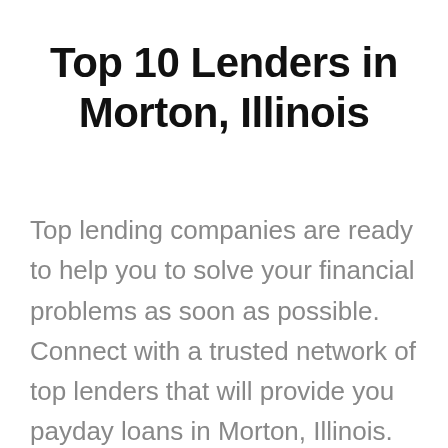Top 10 Lenders in Morton, Illinois
Top lending companies are ready to help you to solve your financial problems as soon as possible. Connect with a trusted network of top lenders that will provide you payday loans in Morton, Illinois.